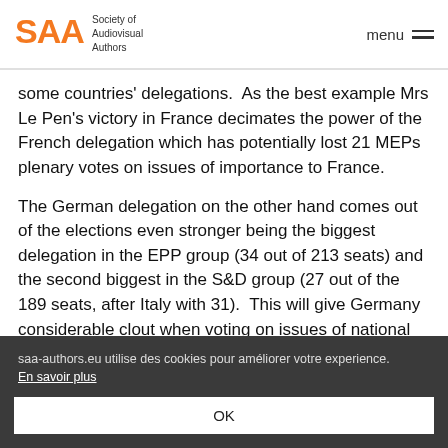Society of Audiovisual Authors | menu
some countries' delegations.  As the best example Mrs Le Pen's victory in France decimates the power of the French delegation which has potentially lost 21 MEPs plenary votes on issues of importance to France.
The German delegation on the other hand comes out of the elections even stronger being the biggest delegation in the EPP group (34 out of 213 seats) and the second biggest in the S&D group (27 out of the 189 seats, after Italy with 31).  This will give Germany considerable clout when voting on issues of national importance.
Committees
Once the groups have been decided, the committees and
saa-authors.eu utilise des cookies pour améliorer votre experience.
En savoir plus
OK